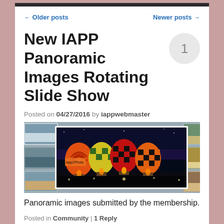← Older posts    Newer posts →
New IAPP Panoramic Images Rotating Slide Show
Posted on 04/27/2016 by iappwebmaster
[Figure (photo): A panoramic photo slideshow thumbnail showing colorful hot air balloons lit up at night, surrounded by a collage of smaller landscape photos on the edges.]
Panoramic images submitted by the membership.
Posted in Community | 1 Reply